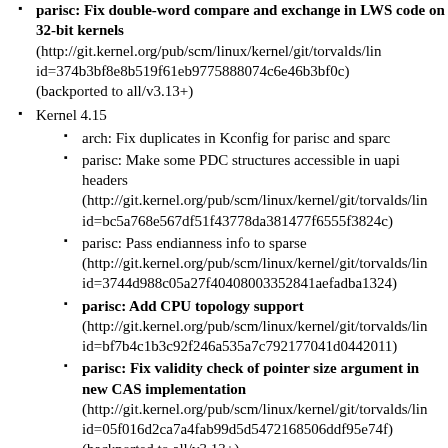parisc: Fix double-word compare and exchange in LWS code on 32-bit kernels (http://git.kernel.org/pub/scm/linux/kernel/git/torvalds/lin id=374b3bf8e8b519f61eb9775888074c6e46b3bf0c) (backported to all/v3.13+)
Kernel 4.15
arch: Fix duplicates in Kconfig for parisc and sparc
parisc: Make some PDC structures accessible in uapi headers (http://git.kernel.org/pub/scm/linux/kernel/git/torvalds/lin id=bc5a768e567df51f43778da381477f6555f3824c)
parisc: Pass endianness info to sparse (http://git.kernel.org/pub/scm/linux/kernel/git/torvalds/lin id=3744d988c05a27f40408003352841aefadba1324)
parisc: Add CPU topology support (http://git.kernel.org/pub/scm/linux/kernel/git/torvalds/lin id=bf7b4c1b3c92f246a535a7c792177041d0442011)
parisc: Fix validity check of pointer size argument in new CAS implementation (http://git.kernel.org/pub/scm/linux/kernel/git/torvalds/lin id=05f016d2ca7a4fab99d5d5472168506ddf95e74f) (backported to all/v3.13+)
parisc: Fix indenting in puts() (backported to v4.14)
parisc: Align os_hpmc_size on word boundary (backported to v4.14)